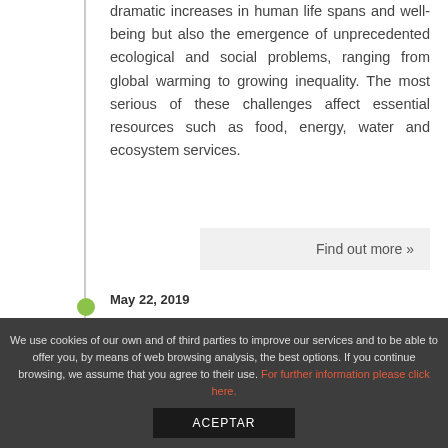dramatic increases in human life spans and well-being but also the emergence of unprecedented ecological and social problems, ranging from global warming to growing inequality. The most serious of these challenges affect essential resources such as food, energy, water and ecosystem services.
Find out more »
May 22, 2019
BC3 Seminar: Evolución del paisaje en nuestros bosques
We use cookies of our own and of third parties to improve our services and to be able to offer you, by means of web browsing analysis, the best options. If you continue browsing, we assume that you agree to their use. For further information please click here.